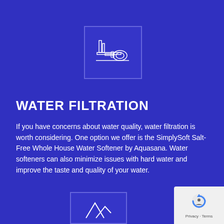[Figure (illustration): Blue square icon box with a white line-art industrial/water filtration equipment icon (pump/filter system)]
WATER FILTRATION
If you have concerns about water quality, water filtration is worth considering. One option we offer is the SimplySoft Salt-Free Whole House Water Softener by Aquasana. Water softeners can also minimize issues with hard water and improve the taste and quality of your water.
[Figure (illustration): Partially visible blue square icon box at the bottom center with white mountain/wave icon]
[Figure (logo): Google reCAPTCHA privacy badge in the bottom right corner with Privacy and Terms links]